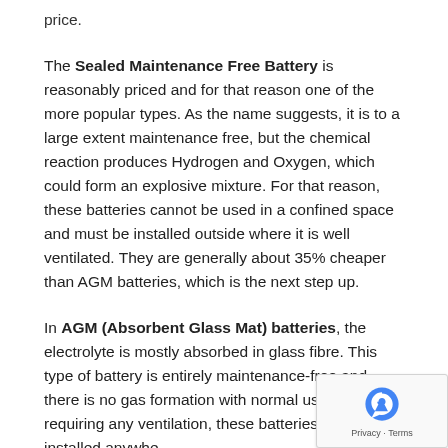price.
The Sealed Maintenance Free Battery is reasonably priced and for that reason one of the more popular types. As the name suggests, it is to a large extent maintenance free, but the chemical reaction produces Hydrogen and Oxygen, which could form an explosive mixture. For that reason, these batteries cannot be used in a confined space and must be installed outside where it is well ventilated. They are generally about 35% cheaper than AGM batteries, which is the next step up.
In AGM (Absorbent Glass Mat) batteries, the electrolyte is mostly absorbed in glass fibre. This type of battery is entirely maintenance-free and there is no gas formation with normal use. Not requiring any ventilation, these batteries can be installed anywhere...
Batteries are rated in Amp Hour (Ah), which is a